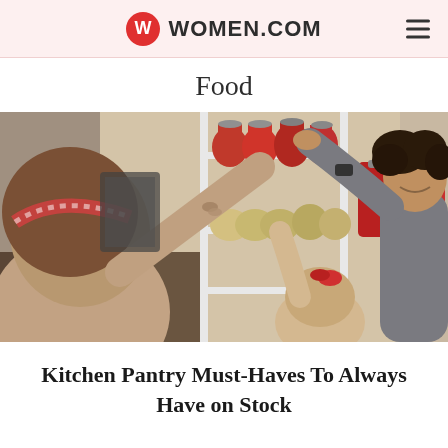WOMEN.COM
Food
[Figure (photo): Two women and a man reaching up to shelves stocked with jars and canned goods in a pantry. The man is smiling and handing a jar down. One woman wears a red and white headband, another wears a red hair bow.]
Kitchen Pantry Must-Haves To Always Have on Stock